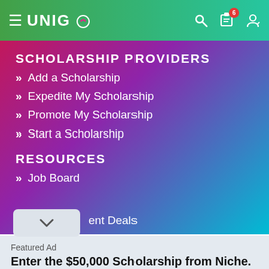UNIGO navigation bar with hamburger menu, logo, search, notification badge (6), and profile icon
SCHOLARSHIP PROVIDERS
Add a Scholarship
Expedite My Scholarship
Promote My Scholarship
Start a Scholarship
RESOURCES
Job Board
ent Deals
Featured Ad
Enter the $50,000 Scholarship from Niche.
Last day to enter is August 31st
APPLY NOW!